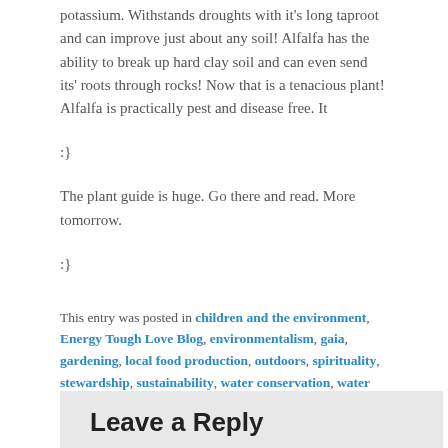potassium. Withstands droughts with it's long taproot and can improve just about any soil! Alfalfa has the ability to break up hard clay soil and can even send its' roots through rocks! Now that is a tenacious plant! Alfalfa is practically pest and disease free. It
:}
The plant guide is huge. Go there and read. More tomorrow.
:}
This entry was posted in children and the environment, Energy Tough Love Blog, environmentalism, gaia, gardening, local food production, outdoors, spirituality, stewardship, sustainability, water conservation, water efficiency, wild animals by DougNic. Bookmark the permalink.
Leave a Reply